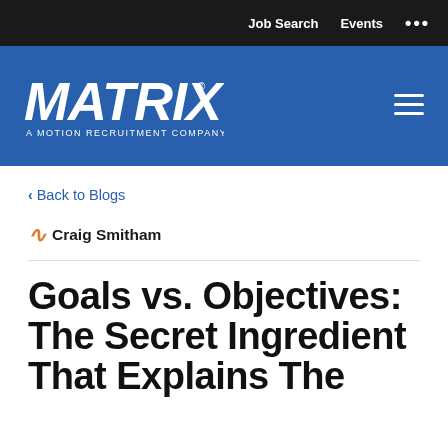Job Search   Events   ...
[Figure (logo): Matrix — A Motion Recruitment Company logo in white on blue background, with hamburger menu icon]
< Back to Blogs
~ Craig Smitham
Goals vs. Objectives: The Secret Ingredient That Explains The